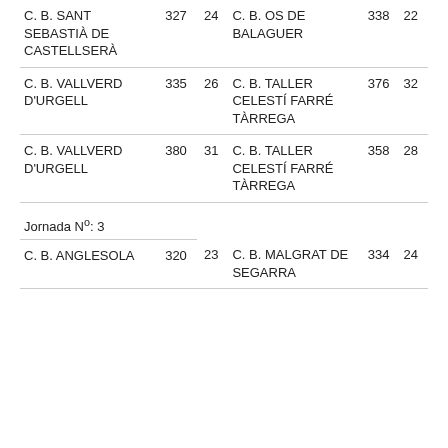| Name | Score | Pts | Name | Score | Pts |
| --- | --- | --- | --- | --- | --- |
| C. B. SANT SEBASTIÀ DE CASTELLSERÀ | 327 | 24 | C. B. OS DE BALAGUER | 338 | 22 |
| C. B. VALLVERD D'URGELL | 335 | 26 | C. B. TALLER CELESTÍ FARRÉ TÀRREGA | 376 | 32 |
| C. B. VALLVERD D'URGELL | 380 | 31 | C. B. TALLER CELESTÍ FARRÉ TÀRREGA | 358 | 28 |
| Jornada Nº: 3 |  |  |  |  |  |
| C. B. ANGLESOLA | 320 | 23 | C. B. MALGRAT DE SEGARRA | 334 | 24 |